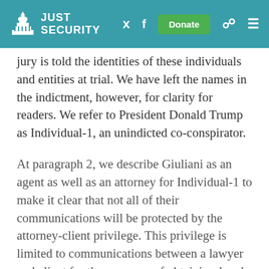JUST SECURITY
jury is told the identities of these individuals and entities at trial. We have left the names in the indictment, however, for clarity for readers. We refer to President Donald Trump as Individual-1, an unindicted co-conspirator.
At paragraph 2, we describe Giuliani as an agent as well as an attorney for Individual-1 to make it clear that not all of their communications will be protected by the attorney-client privilege. This privilege is limited to communications between a lawyer and client for the purposes of obtaining legal